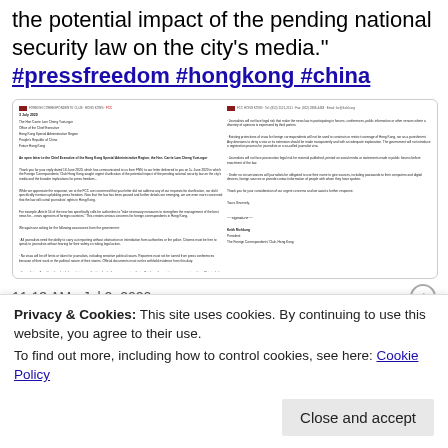the potential impact of the pending national security law on the city's media."
#pressfreedom #hongkong #china
[Figure (screenshot): Scanned letter document shown in two columns, appearing to be an open letter from the Foreign Correspondents' Club Hong Kong regarding press freedom and the national security law.]
11:13 AM · Jul 2, 2020
Privacy & Cookies: This site uses cookies. By continuing to use this website, you agree to their use.
To find out more, including how to control cookies, see here: Cookie Policy
Close and accept